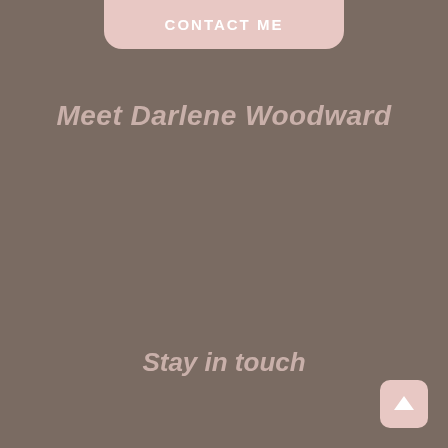CONTACT ME
Meet Darlene Woodward
Stay in touch
[Figure (other): Back to top arrow button, pink rounded square with upward arrow icon]